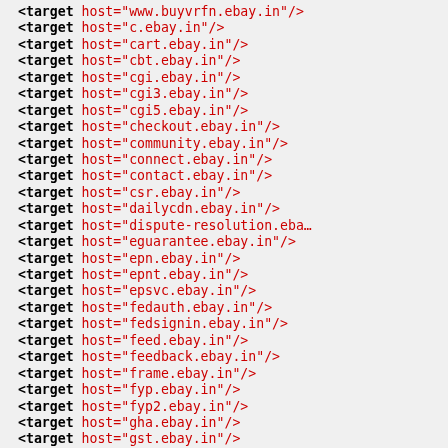<target host="www.buyvrfn.ebay.in"/>
<target host="c.ebay.in"/>
<target host="cart.ebay.in"/>
<target host="cbt.ebay.in"/>
<target host="cgi.ebay.in"/>
<target host="cgi3.ebay.in"/>
<target host="cgi5.ebay.in"/>
<target host="checkout.ebay.in"/>
<target host="community.ebay.in"/>
<target host="connect.ebay.in"/>
<target host="contact.ebay.in"/>
<target host="csr.ebay.in"/>
<target host="dailycdn.ebay.in"/>
<target host="dispute-resolution.ebay..."/>
<target host="eguarantee.ebay.in"/>
<target host="epn.ebay.in"/>
<target host="epnt.ebay.in"/>
<target host="epsvc.ebay.in"/>
<target host="fedauth.ebay.in"/>
<target host="fedsignin.ebay.in"/>
<target host="feed.ebay.in"/>
<target host="feedback.ebay.in"/>
<target host="frame.ebay.in"/>
<target host="fyp.ebay.in"/>
<target host="fyp2.ebay.in"/>
<target host="gha.ebay.in"/>
<target host="gst.ebay.in"/>
<target host="www.inship.ebay.in"/>
<target host="invoice.ebay.in"/>
<target host="item.ebay.in"/>